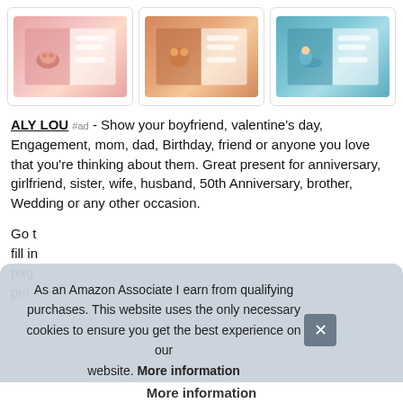[Figure (photo): Three open children's book/journal products shown side by side. Left book has pink theme with teacup and bear illustration. Middle book has orange/terracotta theme with bear in flowers. Right book has teal/blue theme with flamingo and bear illustration. Each shows an open spread with illustrated left page and lined right page.]
ALY LOU #ad - Show your boyfriend, valentine's day, Engagement, mom, dad, Birthday, friend or anyone you love that you're thinking about them. Great present for anniversary, girlfriend, sister, wife, husband, 50th Anniversary, brother, Wedding or any other occasion.
Go t fill in pag put
As an Amazon Associate I earn from qualifying purchases. This website uses the only necessary cookies to ensure you get the best experience on our website. More information
More information